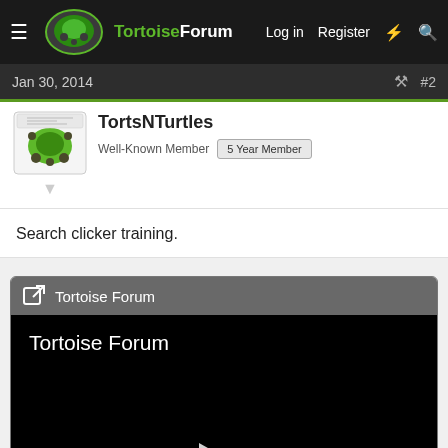TortoiseForum  Log in  Register
Jan 30, 2014  #2
TortsNTurtles
Well-Known Member  5 Year Member
Search clicker training.
[Figure (screenshot): Embedded video card with gray header showing 'Tortoise Forum' and external link icon, black video body with 'Tortoise Forum' title text and a play button triangle in the center]